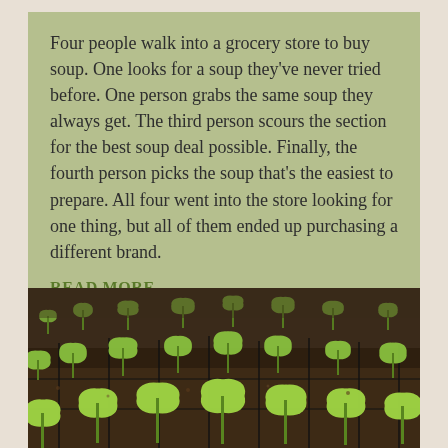Four people walk into a grocery store to buy soup. One looks for a soup they've never tried before. One person grabs the same soup they always get. The third person scours the section for the best soup deal possible. Finally, the fourth person picks the soup that's the easiest to prepare. All four went into the store looking for one thing, but all of them ended up purchasing a different brand.
READ MORE
[Figure (photo): Close-up photograph of many small green seedlings sprouting from dark soil in black plastic seedling trays, viewed from a low angle showing rows of young plants.]